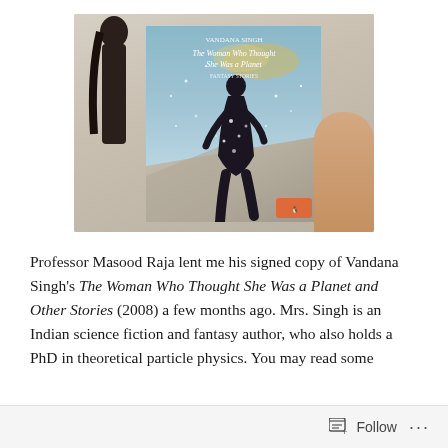[Figure (photo): A person holding up a book titled 'The Woman Who Thought She Was a Planet and Other Stories' by Vandana Singh (Penguin edition, 2008). The book cover shows a dark silhouette of a woman standing against a cosmic/starry background. The photo is taken indoors.]
Professor Masood Raja lent me his signed copy of Vandana Singh's The Woman Who Thought She Was a Planet and Other Stories (2008) a few months ago. Mrs. Singh is an Indian science fiction and fantasy author, who also holds a PhD in theoretical particle physics. You may read some
Follow ...